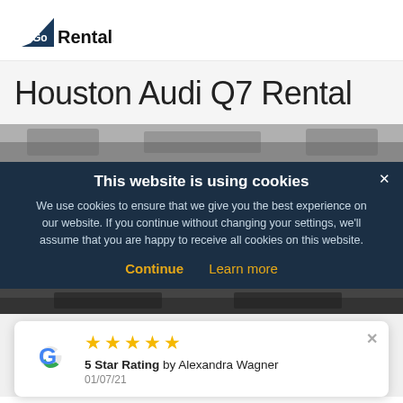[Figure (logo): Go Rentals logo with blue airplane tail fin and bold 'Rentals' text]
Houston Audi Q7 Rental
[Figure (photo): Partial view of a car rental vehicle, top portion visible behind cookie banner]
This website is using cookies
We use cookies to ensure that we give you the best experience on our website. If you continue without changing your settings, we'll assume that you are happy to receive all cookies on this website.
Continue  Learn more
[Figure (photo): Partial view of car bottom, dark tones]
5 Star Rating by Alexandra Wagner
01/07/21